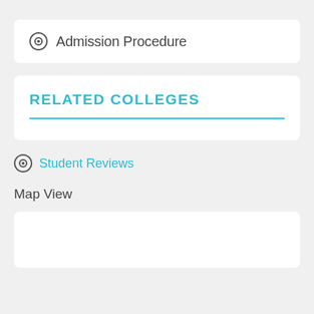Admission Procedure
RELATED COLLEGES
Student Reviews
Map View
[Figure (other): Empty map view card/panel]